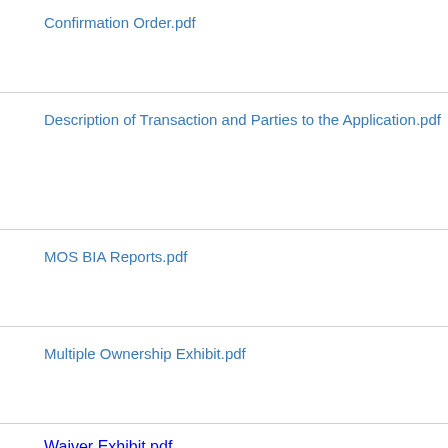Confirmation Order.pdf
Description of Transaction and Parties to the Application.pdf
MOS BIA Reports.pdf
Multiple Ownership Exhibit.pdf
Waiver Exhibit.pdf